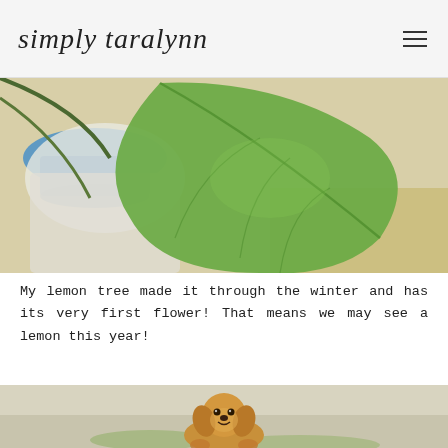simply taralynn
[Figure (photo): Close-up photo of a large green leaf from a lemon tree, with a blue pot and white background visible, taken outdoors on dry grass.]
My lemon tree made it through the winter and has its very first flower! That means we may see a lemon this year!
[Figure (photo): Photo of a golden doodle or golden retriever puppy sitting on a lawn, looking at the camera with a happy expression.]